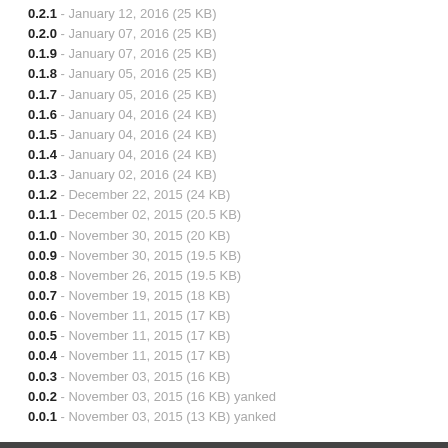0.2.1 - January 12, 2016 (25 KB)
0.2.0 - January 07, 2016 (25 KB)
0.1.9 - January 07, 2016 (25 KB)
0.1.8 - January 05, 2016 (25 KB)
0.1.7 - January 05, 2016 (25 KB)
0.1.6 - January 04, 2016 (24 KB)
0.1.5 - January 04, 2016 (24 KB)
0.1.4 - January 04, 2016 (24 KB)
0.1.3 - January 02, 2016 (24 KB)
0.1.2 - December 22, 2015 (24 KB)
0.1.1 - December 02, 2015 (20.5 KB)
0.1.0 - November 30, 2015 (20 KB)
0.0.9 - November 30, 2015 (19.5 KB)
0.0.8 - November 26, 2015 (19.5 KB)
0.0.7 - November 19, 2015 (18 KB)
0.0.6 - November 11, 2015 (17 KB)
0.0.5 - November 11, 2015 (17 KB)
0.0.4 - November 11, 2015 (17 KB)
0.0.3 - November 03, 2015 (16 KB)
0.0.2 - November 03, 2015 (16 KB) yanked
0.0.1 - November 03, 2015 (13 KB) yanked